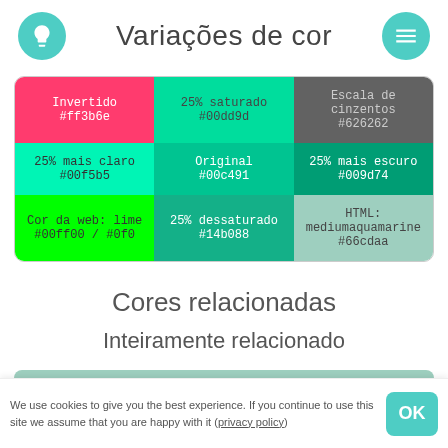Variações de cor
| Invertido #ff3b6e | 25% saturado #00dd9d | Escala de cinzentos #626262 |
| --- | --- | --- |
| 25% mais claro #00f5b5 | Original #00c491 | 25% mais escuro #009d74 |
| Cor da web: lime #00ff00 / #0f0 | 25% dessaturado #14b088 | HTML: mediumaquamarine #66cdaa |
Cores relacionadas
Inteiramente relacionado
Água-marinha média
We use cookies to give you the best experience. If you continue to use this site we assume that you are happy with it (privacy policy)